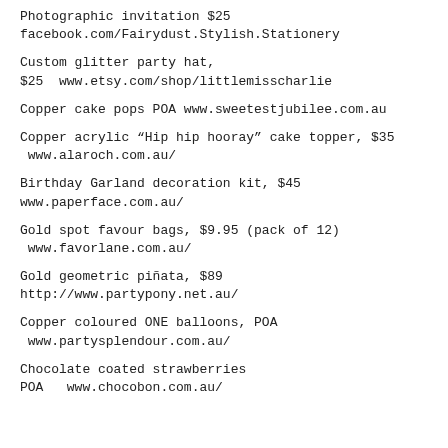Photographic invitation $25 facebook.com/Fairydust.Stylish.Stationery
Custom glitter party hat, $25  www.etsy.com/shop/littlemisscharlie
Copper cake pops POA www.sweetestjubilee.com.au
Copper acrylic “Hip hip hooray” cake topper, $35  www.alaroch.com.au/
Birthday Garland decoration kit, $45 www.paperface.com.au/
Gold spot favour bags, $9.95 (pack of 12)  www.favorlane.com.au/
Gold geometric piñata, $89 http://www.partypony.net.au/
Copper coloured ONE balloons, POA  www.partysplendour.com.au/
Chocolate coated strawberries POA   www.chocobon.com.au/